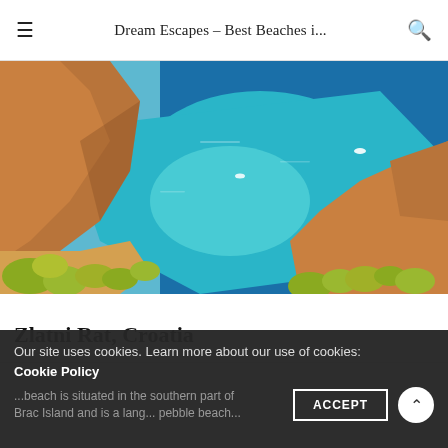Dream Escapes – Best Beaches i...
[Figure (photo): Aerial view of Zlatni Rat beach, Croatia, showing turquoise blue water surrounded by rocky golden limestone cliffs with yellow-green vegetation, with small boats visible on the water.]
Zlatni Rat, Croatia
Our site uses cookies. Learn more about our use of cookies: Cookie Policy
...beach is situated in the southern part of Brac Island and is a lang... pebble beach...